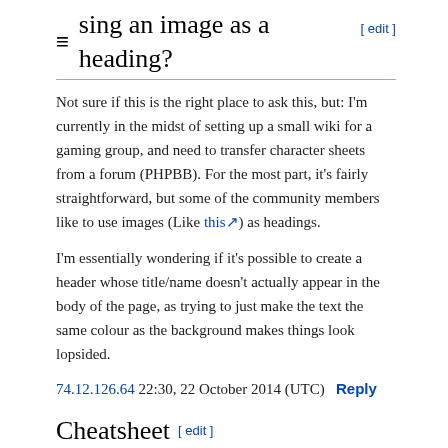Using an image as a heading? [ edit ]
Not sure if this is the right place to ask this, but: I'm currently in the midst of setting up a small wiki for a gaming group, and need to transfer character sheets from a forum (PHPBB). For the most part, it's fairly straightforward, but some of the community members like to use images (Like this) as headings.
I'm essentially wondering if it's possible to create a header whose title/name doesn't actually appear in the body of the page, as trying to just make the text the same colour as the background makes things look lopsided.
74.12.126.64 22:30, 22 October 2014 (UTC)  Reply
Cheatsheet [ edit ]
Partially a pointer, in case anyone hasn't seen it.... I'd suggest copying (adapting) enwiki's w:WP:CHEATSHEET over to this wiki, and considering using that as the main wikitext help landing page. It contains all (?) the important bits, in a single short page, rather than the current split that we have here of multiple pages